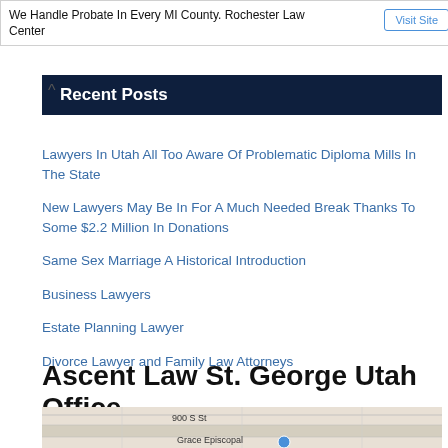We Handle Probate In Every MI County. Rochester Law Center
Recent Posts
Lawyers In Utah All Too Aware Of Problematic Diploma Mills In The State
New Lawyers May Be In For A Much Needed Break Thanks To Some $2.2 Million In Donations
Same Sex Marriage A Historical Introduction
Business Lawyers
Estate Planning Lawyer
Divorce Lawyer and Family Law Attorneys
Ascent Law St. George Utah Office
[Figure (map): Street map showing 900 S St area near Grace Episcopal, St. George Utah office location]